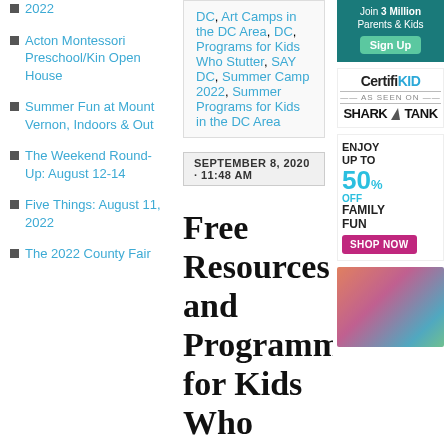2022
Acton Montessori Preschool/Kin Open House
Summer Fun at Mount Vernon, Indoors & Out
The Weekend Round-Up: August 12-14
Five Things: August 11, 2022
The 2022 County Fair
DC, Art Camps in the DC Area, DC, Programs for Kids Who Stutter, SAY DC, Summer Camp 2022, Summer Programs for Kids in the DC Area
SEPTEMBER 8, 2020 · 11:48 AM
Free Resources and Programming for Kids Who Stutter from SAY: DC
[Figure (infographic): Teal advertisement box with Join 3 Million Parents & Kids and a Sign Up button]
[Figure (infographic): CertifiKID advertisement logo with AS SEEN ON SHARK TANK text]
[Figure (infographic): Advertisement: ENJOY UP TO 50% OFF FAMILY FUN with SHOP NOW button in pink]
[Figure (photo): Crowd photo of people with arms raised, colorful]